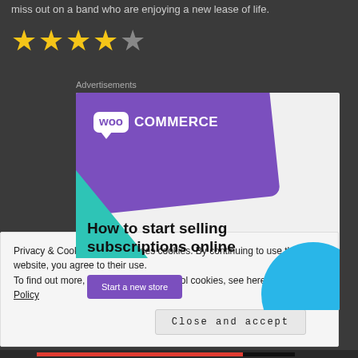miss out on a band who are enjoying a new lease of life.
[Figure (other): 4-star rating shown with 4 filled gold stars and 1 empty star]
Advertisements
[Figure (screenshot): WooCommerce advertisement banner. Shows the WooCommerce logo in white on purple background, a green triangle decoration, a blue circle decoration, and the text 'How to start selling subscriptions online' with a purple 'Start a new store' button.]
Privacy & Cookies: This site uses cookies. By continuing to use this website, you agree to their use.
To find out more, including how to control cookies, see here: Cookie Policy
Close and accept